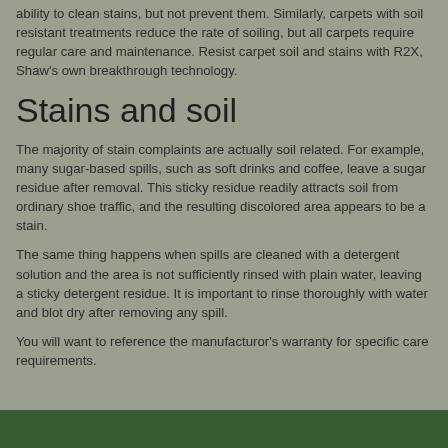ability to clean stains, but not prevent them. Similarly, carpets with soil resistant treatments reduce the rate of soiling, but all carpets require regular care and maintenance. Resist carpet soil and stains with R2X, Shaw's own breakthrough technology.
Stains and soil
The majority of stain complaints are actually soil related. For example, many sugar-based spills, such as soft drinks and coffee, leave a sugar residue after removal. This sticky residue readily attracts soil from ordinary shoe traffic, and the resulting discolored area appears to be a stain.
The same thing happens when spills are cleaned with a detergent solution and the area is not sufficiently rinsed with plain water, leaving a sticky detergent residue. It is important to rinse thoroughly with water and blot dry after removing any spill.
You will want to reference the manufacturor's warranty for specific care requirements.